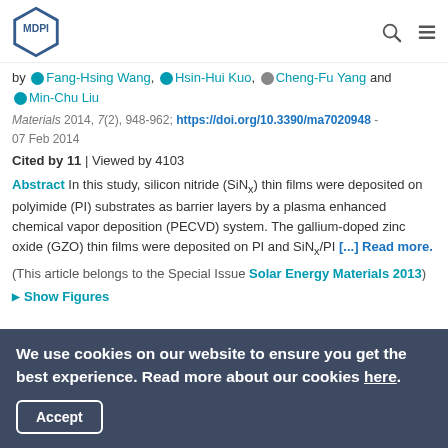MDPI logo with search and menu icons
by Fang-Hsing Wang, Hsin-Hui Kuo, Cheng-Fu Yang and Min-Chu Liu
Materials 2014, 7(2), 948-962; https://doi.org/10.3390/ma7020948 - 07 Feb 2014
Cited by 11 | Viewed by 4103
Abstract In this study, silicon nitride (SiNx) thin films were deposited on polyimide (PI) substrates as barrier layers by a plasma enhanced chemical vapor deposition (PECVD) system. The gallium-doped zinc oxide (GZO) thin films were deposited on PI and SiNx/PI [...] Read more.
(This article belongs to the Special Issue Solar Energy Materials 2013)
Show Figures
We use cookies on our website to ensure you get the best experience. Read more about our cookies here.
Accept